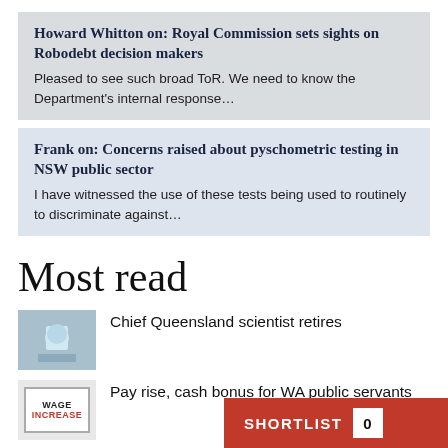Howard Whitton on: Royal Commission sets sights on Robodebt decision makers
Pleased to see such broad ToR. We need to know the Department's internal response...
Frank on: Concerns raised about pyschometric testing in NSW public sector
I have witnessed the use of these tests being used to routinely to discriminate against...
Most read
Chief Queensland scientist retires
Pay rise, cash bonus for WA public servants
What does